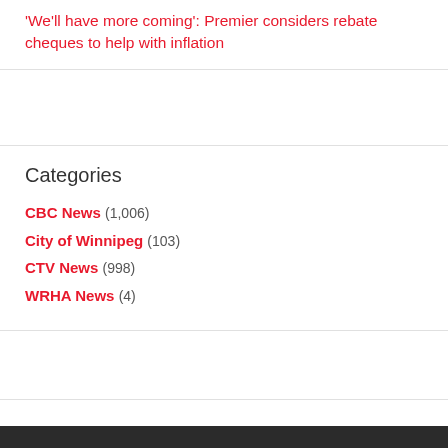'We'll have more coming': Premier considers rebate cheques to help with inflation
Categories
CBC News (1,006)
City of Winnipeg (103)
CTV News (998)
WRHA News (4)